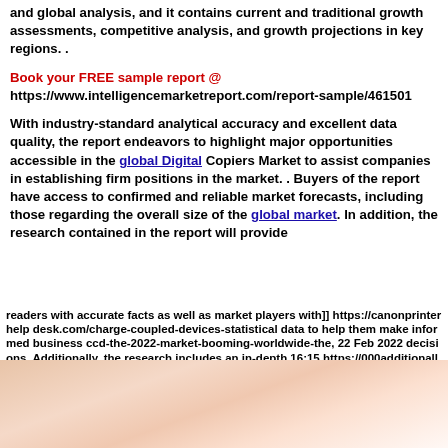and global analysis, and it contains current and traditional growth assessments, competitive analysis, and growth projections in key regions. .
Book your FREE sample report @ https://www.intelligencemarketreport.com/report-sample/461501
With industry-standard analytical accuracy and excellent data quality, the report endeavors to highlight major opportunities accessible in the global Digital Copiers Market to assist companies in establishing firm positions in the market. . Buyers of the report have access to confirmed and reliable market forecasts, including those regarding the overall size of the global market. In addition, the research contained in the report will provide readers with accurate facts as well as market players with statistical data to help them make informed business decisions. Additionally, the research includes an in-depth review of the global market, with a particular focus on
]] https://canonprinterhelp desk.com/charge-coupled-devices-ccd-the-2022-market-booming-worldwide-the, 22 Feb 2022 16:15 https://000additionally.printerhelp desk.com/charge coupled-devices-total-the-2022, market-is-booming-worldwide/
[Figure (photo): Blurred close-up photo of a person's face/skin, peach and warm tones]